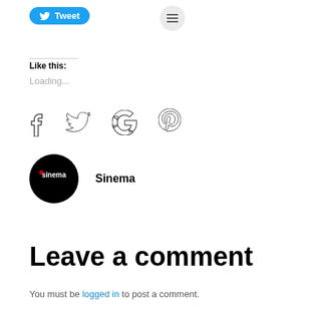[Figure (other): Twitter Tweet button with bird icon]
[Figure (other): Hamburger menu button (three horizontal lines) in a grey circle]
Like this:
Loading...
[Figure (other): Social share icons: Facebook, Twitter, Google, Pinterest]
[Figure (logo): Sinema logo — black circle with white 'sinema' text]
Sinema
Leave a comment
You must be logged in to post a comment.